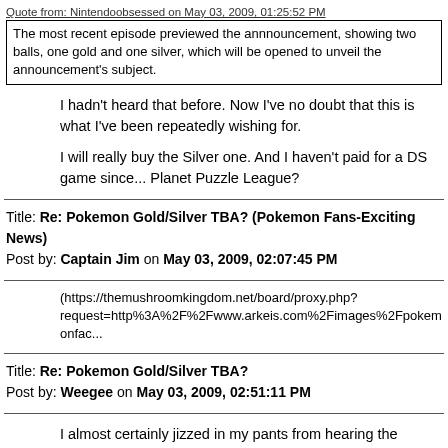Quote from: Nintendoobsessed on May 03, 2009, 01:25:52 PM
The most recent episode previewed the annnouncement, showing two balls, one gold and one silver, which will be opened to unveil the announcement's subject.
I hadn't heard that before. Now I've no doubt that this is what I've been repeatedly wishing for.
I will really buy the Silver one. And I haven't paid for a DS game since... Planet Puzzle League?
Title: Re: Pokemon Gold/Silver TBA? (Pokemon Fans-Exciting News)
Post by: Captain Jim on May 03, 2009, 02:07:45 PM
(https://themushroomkingdom.net/board/proxy.php?request=http%3A%2F%2Fwww.arkeis.com%2Fimages%2Fpokemonface...
Title: Re: Pokemon Gold/Silver TBA?
Post by: Weegee on May 03, 2009, 02:51:11 PM
I almost certainly jizzed in my pants from hearing the news... NOT from seeing the below image. Just thought I'd clear that up before anyone saw the oppurtunity to make some snarky comment.
(https://themushroomkingdom.net/board/proxy.php?request=http%3A%2F%2Ffc05.deviantart.com%2Ffs18%2Ff%2F2007%...